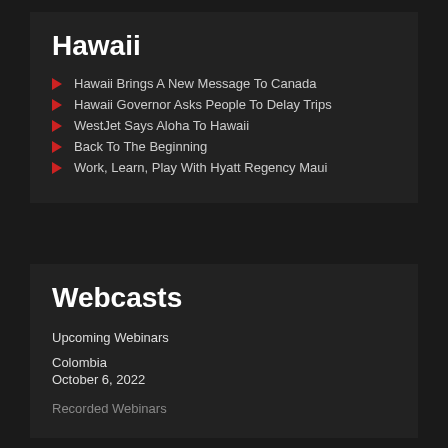Hawaii
Hawaii Brings A New Message To Canada
Hawaii Governor Asks People To Delay Trips
WestJet Says Aloha To Hawaii
Back To The Beginning
Work, Learn, Play With Hyatt Regency Maui
Webcasts
Upcoming Webinars
Colombia
October 6, 2022
Recorded Webinars